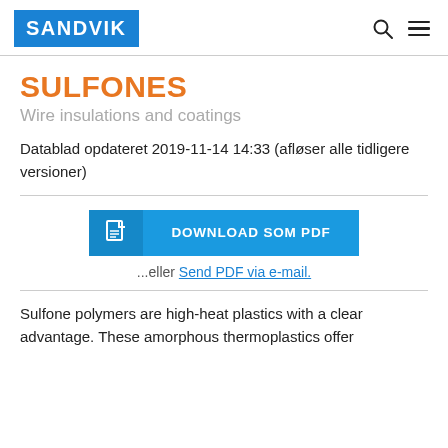SANDVIK
SULFONES
Wire insulations and coatings
Datablad opdateret 2019-11-14 14:33 (afløser alle tidligere versioner)
[Figure (other): Blue download button with document icon and text 'DOWNLOAD SOM PDF']
...eller Send PDF via e-mail.
Sulfone polymers are high-heat plastics with a clear advantage. These amorphous thermoplastics offer